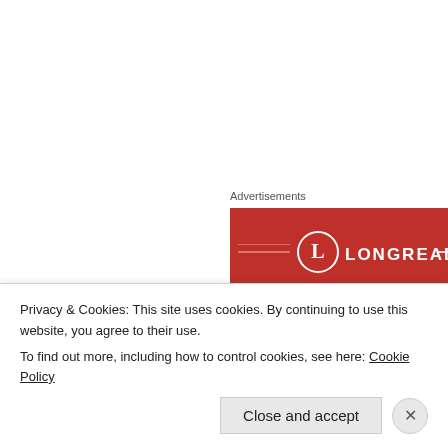Advertisements
[Figure (logo): Longreads advertisement banner with red background, circular L logo and LONGREADS text]
Lynz Real Cooking says: June 4, 2016 at 7:09 am
[Figure (photo): Avatar photo of commenter Lynz Real Cooking]
This is an amazing photo! I really love this sunset, so d
Liked by 3 people
Reply
Privacy & Cookies: This site uses cookies. By continuing to use this website, you agree to their use.
To find out more, including how to control cookies, see here: Cookie Policy
Close and accept